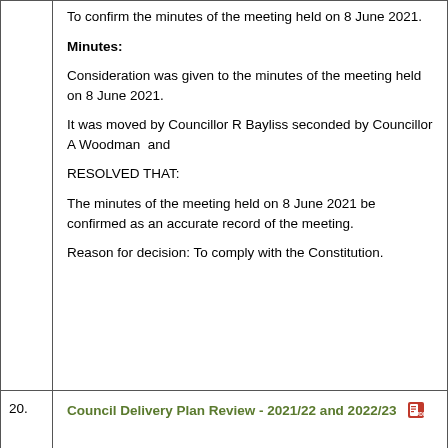To confirm the minutes of the meeting held on 8 June 2021.
Minutes:
Consideration was given to the minutes of the meeting held on 8 June 2021.
It was moved by Councillor R Bayliss seconded by Councillor A Woodman  and
RESOLVED THAT:
The minutes of the meeting held on 8 June 2021 be confirmed as an accurate record of the meeting.
Reason for decision: To comply with the Constitution.
20.
Council Delivery Plan Review - 2021/22 and 2022/23